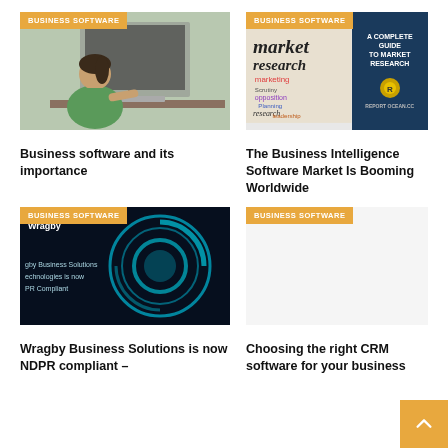[Figure (photo): Person sitting at a computer workstation, wearing a green shirt, side profile view. Badge reads BUSINESS SOFTWARE.]
Business software and its importance
[Figure (photo): Market research word collage on left side, blue panel on right reading A COMPLETE GUIDE TO MARKET RESEARCH with Report Ocean logo. Badge reads BUSINESS SOFTWARE.]
The Business Intelligence Software Market Is Booming Worldwide
[Figure (photo): Dark blue tech background with glowing blue circular digital graphic, text reads Wragby, gby Business Solutions, echnologies is now, PR Compliant. Badge reads BUSINESS SOFTWARE.]
Wragby Business Solutions is now NDPR compliant –
[Figure (other): Empty placeholder area below BUSINESS SOFTWARE badge for fourth card.]
Choosing the right CRM software for your business